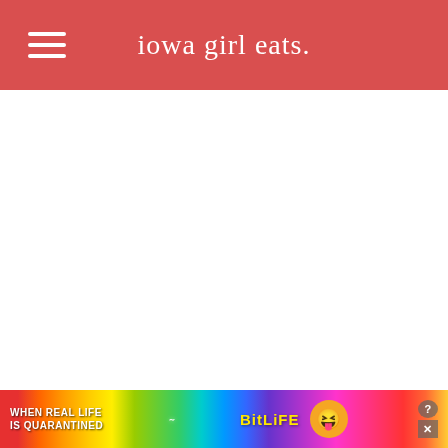iowa girl eats.
[Figure (screenshot): Large white blank content area below the header navigation bar]
Maple Cinnamon Oatmeal
[Figure (infographic): Advertisement banner: colorful rainbow background with text 'WHEN REAL LIFE IS QUARANTINED' and BitLife logo with star-eyes emoji character]